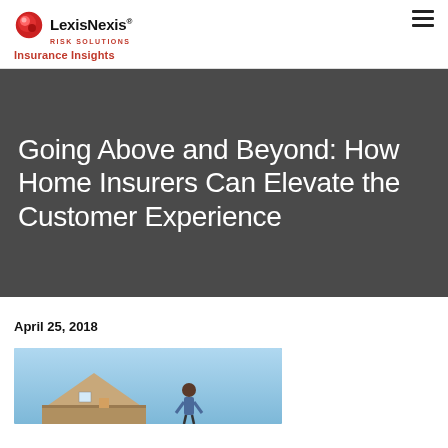LexisNexis Risk Solutions — Insurance Insights
Going Above and Beyond: How Home Insurers Can Elevate the Customer Experience
April 25, 2018
[Figure (photo): Photo of a person near a house/roof with blue sky background]